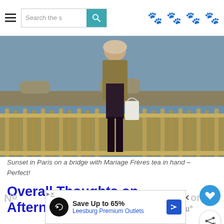Search the s [search button] [paw icons]
[Figure (photo): Woman standing on a Parisian bridge (ornate iron railing) wearing a brown jacket, black mini dress, and patterned scarf, holding a white shopping bag. River Seine and bridge visible in background at sunset.]
Sunset in Paris on a bridge with Mariage Frères tea in hand – Perfect!
Overall Thoughts on Afternoon Tea in Paris
[Figure (screenshot): Advertisement banner: Save Up to 65% Leesburg Premium Outlets with logo and arrow icon]